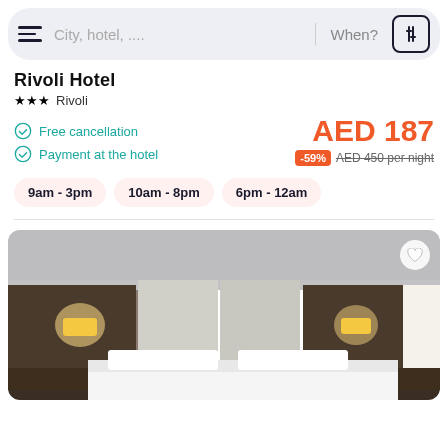City, hotel, .... When?
Rivoli Hotel
★★★ Rivoli
Free cancellation
Payment at the hotel
AED 187
-59% AED 450 per night
9am - 3pm
10am - 8pm
6pm - 12am
[Figure (photo): Hotel room interior with double bed, wall-mounted lamps on dark wood headboard panels, white bedding, neutral grey walls]